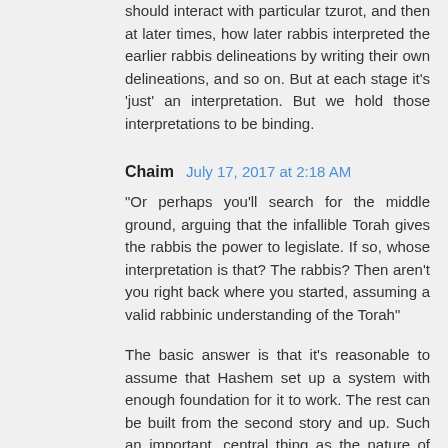should interact with particular tzurot, and then at later times, how later rabbis interpreted the earlier rabbis delineations by writing their own delineations, and so on. But at each stage it's 'just' an interpretation. But we hold those interpretations to be binding.
Chaim  July 17, 2017 at 2:18 AM
"Or perhaps you'll search for the middle ground, arguing that the infallible Torah gives the rabbis the power to legislate. If so, whose interpretation is that? The rabbis? Then aren't you right back where you started, assuming a valid rabbinic understanding of the Torah"
The basic answer is that it's reasonable to assume that Hashem set up a system with enough foundation for it to work. The rest can be built from the second story and up. Such an important, central thing as the nature of authority is part of the foundation and would be taught by